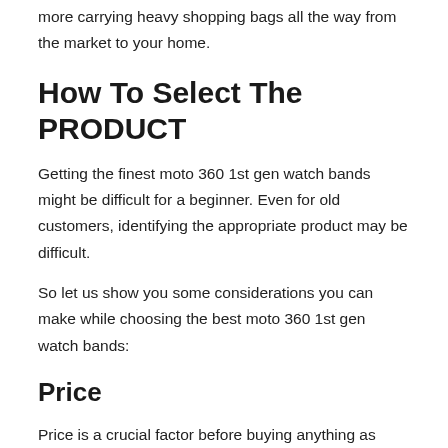more carrying heavy shopping bags all the way from the market to your home.
How To Select The PRODUCT
Getting the finest moto 360 1st gen watch bands might be difficult for a beginner. Even for old customers, identifying the appropriate product may be difficult.
So let us show you some considerations you can make while choosing the best moto 360 1st gen watch bands:
Price
Price is a crucial factor before buying anything as everyone wants to purchase things at a great deal. Don't get the wrong idea that your moto 360 1st gen watch bands will only be the best deal to make when it costs more. You always need to compare the price